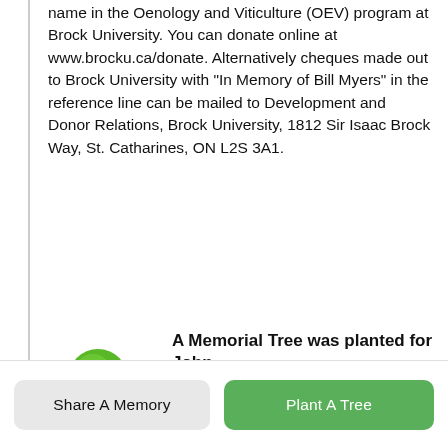name in the Oenology and Viticulture (OEV) program at Brock University. You can donate online at www.brocku.ca/donate. Alternatively cheques made out to Brock University with "In Memory of Bill Myers" in the reference line can be mailed to Development and Donor Relations, Brock University, 1812 Sir Isaac Brock Way, St. Catharines, ON L2S 3A1.
[Figure (illustration): Green oak tree illustration]
A Memorial Tree was planted for John

We are deeply sorry for your loss ~ the staff at Tallman Funeral Homes - Vineland

Join in honoring their life - plant a memorial tree
Share A Memory
Plant A Tree